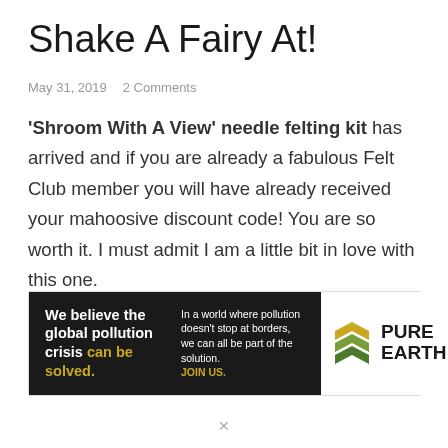Shake A Fairy At!
May 31, 2019   2 Comments
'Shroom With A View' needle felting kit has arrived and if you are already a fabulous Felt Club member you will have already received your mahoosive discount code! You are so worth it. I must admit I am a little bit in love with this one.
[Figure (advertisement): Pure Earth advertisement banner. Left black panel: 'We believe the global pollution crisis can be solved.' with 'can be solved.' in gold/yellow. Middle black panel: 'In a world where pollution doesn't stop at borders, we can all be part of the solution. JOIN US.' with JOIN US in gold/yellow. Right white panel: Pure Earth logo with diamond-shaped stacked chevrons icon in gold/green and bold text 'PURE EARTH'.]